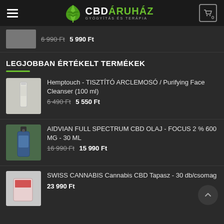CBD ÁRUHÁZ – GYÓGYÍTÁS ÉS TERÁPIA
6 990 Ft  5 990 Ft
LEGJOBBAN ÉRTÉKELT TERMÉKEK
Hemptouch - TISZTÍTÓ ARCLEMOSÓ / Purifying Face Cleanser (100 ml)
6 490 Ft  5 550 Ft
AIDVIAN FULL SPECTRUM CBD OLAJ - FOCUS 2 % 600 MG - 30 ML
16 990 Ft  15 990 Ft
SWISS CANNABIS Cannabis CBD Tapasz - 30 db/csomag
23 990 Ft